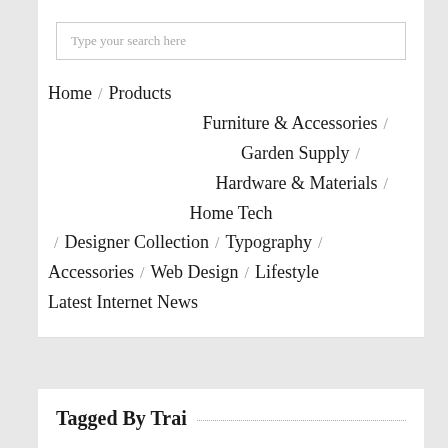Type your search here
Home / Products
Furniture & Accessories /
Garden Supply /
Hardware & Materials /
Home Tech
/ Designer Collection / Typography /
Accessories / Web Design / Lifestyle
Latest Internet News
Tagged By Trai